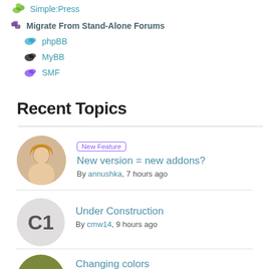Simple:Press
Migrate From Stand-Alone Forums
phpBB
MyBB
SMF
Recent Topics
New Feature  New version = new addons?
By annushka, 7 hours ago
Under Construction
By cmw14, 9 hours ago
Changing colors
By DmitriyT, 14 hours ago